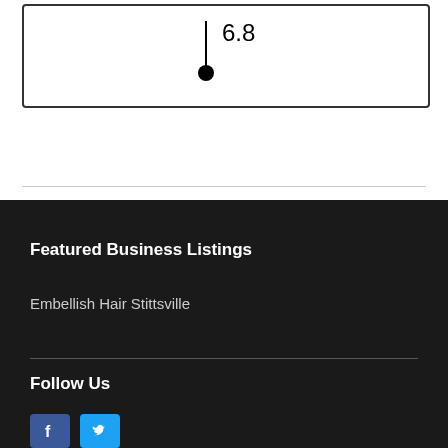[Figure (other): A diagram showing a pin/marker with a vertical line and a filled circle at the bottom, with the number 6.8 displayed to the right]
Featured Business Listings
Embellish Hair Stittsville
Follow Us
[Figure (other): Social media icons: Facebook (blue) and Twitter (light blue)]